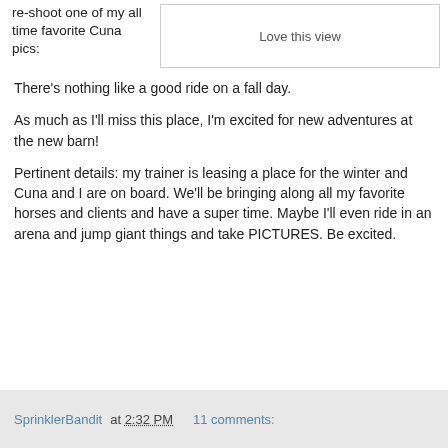re-shoot one of my all time favorite Cuna pics:
[Figure (photo): Photo with caption 'Love this view']
There's nothing like a good ride on a fall day.
As much as I'll miss this place, I'm excited for new adventures at the new barn!
Pertinent details: my trainer is leasing a place for the winter and Cuna and I are on board. We'll be bringing along all my favorite horses and clients and have a super time. Maybe I'll even ride in an arena and jump giant things and take PICTURES. Be excited.
SprinklerBandit at 2:32 PM    11 comments: